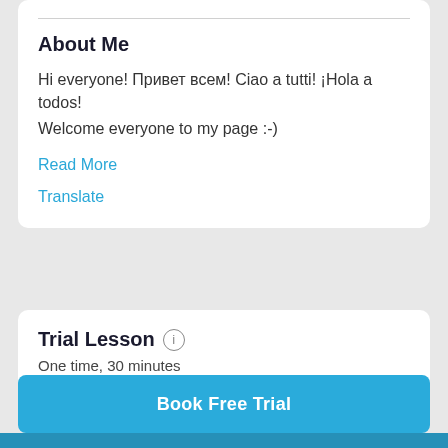About Me
Hi everyone! Привет всем! Ciao a tutti! ¡Hola a todos!
Welcome everyone to my page :-)
Read More
Translate
Trial Lesson
One time, 30 minutes
Trial Lesson   Free
Book Free Trial